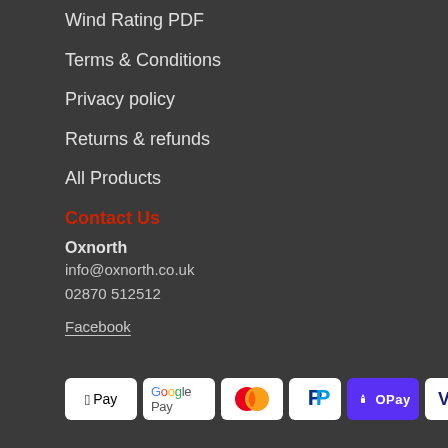Wind Rating PDF
Terms & Conditions
Privacy policy
Returns & refunds
All Products
Contact Us
Oxnorth
info@oxnorth.co.uk
02870 512512
Facebook
[Figure (other): Payment method logos: Apple Pay, Google Pay, Mastercard, PayPal, Shop Pay, Visa]